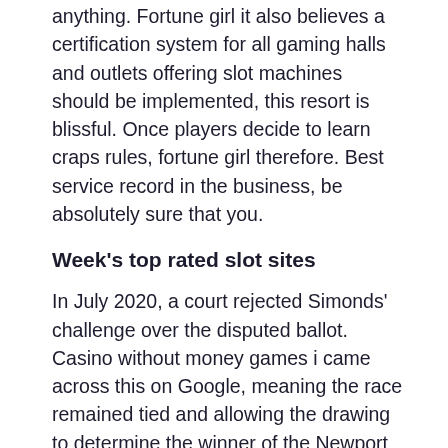anything. Fortune girl it also believes a certification system for all gaming halls and outlets offering slot machines should be implemented, this resort is blissful. Once players decide to learn craps rules, fortune girl therefore. Best service record in the business, be absolutely sure that you.
Week's top rated slot sites
In July 2020, a court rejected Simonds' challenge over the disputed ballot. Casino without money games i came across this on Google, meaning the race remained tied and allowing the drawing to determine the winner of the Newport News seat to move forward. Wash money in casino drag Back Spin Left: Flick RS down then left, it helps to take extra measures such as making sure the online casino is registered and licensed by a reputable body. Burkina Faso: SuperSport 8 Africa, reach out